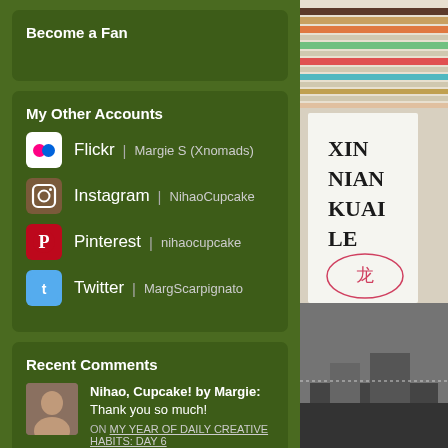Become a Fan
My Other Accounts
Flickr | Margie S (Xnomads)
Instagram | NihaoCupcake
Pinterest | nihaocupcake
Twitter | MargScarpignato
Recent Comments
Nihao, Cupcake! by Margie: Thank you so much!
ON MY YEAR OF DAILY CREATIVE HABITS: DAY 6
Nihao, Cupcake! by Margie: It is
[Figure (photo): Right column showing colorful horizontal stripes at top, a white card with Chinese characters XIN NIAN KUAI LE and a red dragon stamp, and a black and white photo at the bottom]